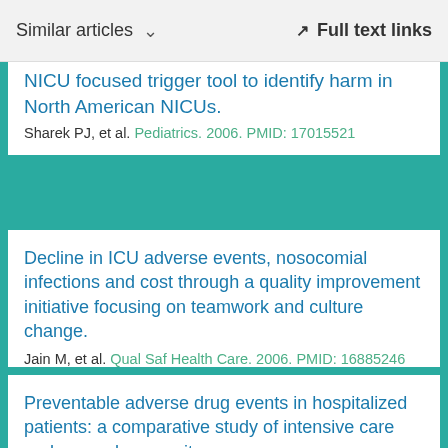Similar articles   ∨    Full text links
NICU focused trigger tool to identify harm in North American NICUs.
Sharek PJ, et al. Pediatrics. 2006. PMID: 17015521
Decline in ICU adverse events, nosocomial infections and cost through a quality improvement initiative focusing on teamwork and culture change.
Jain M, et al. Qual Saf Health Care. 2006. PMID: 16885246
Free PMC article.
Preventable adverse drug events in hospitalized patients: a comparative study of intensive care and general care units.
Cullen DJ, et al. Crit Care Med. 1997. PMID: 9267940